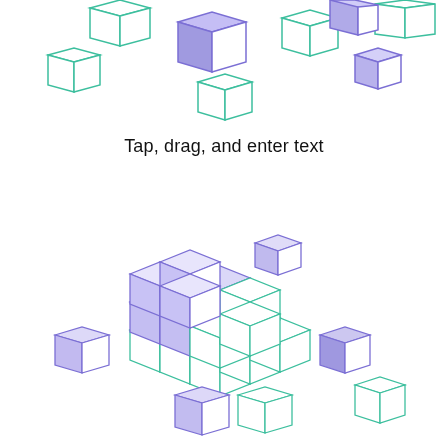[Figure (illustration): Scattered 3D cube outlines drawn with teal and purple/blue gradient lines, floating across the top portion of the page]
Tap, drag, and enter text
[Figure (illustration): A central stack of 3D cubes forming a Rubik's-cube-like arrangement with teal and purple gradient outlines, surrounded by several smaller individual scattered cubes, in the lower half of the page]